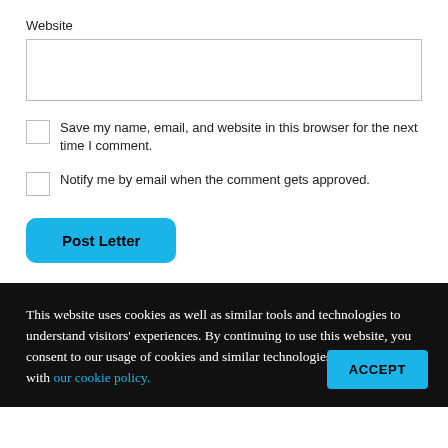Website
Save my name, email, and website in this browser for the next time I comment.
Notify me by email when the comment gets approved.
Post Letter
This website uses cookies as well as similar tools and technologies to understand visitors' experiences. By continuing to use this website, you consent to our usage of cookies and similar technologies, in accordance with our cookie policy.
ACCEPT